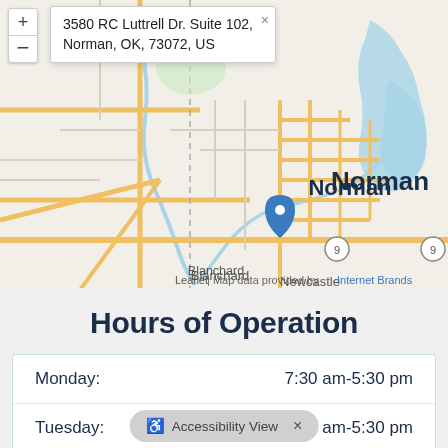[Figure (map): Street map showing Norman, Oklahoma area with a blue location pin marker. Map shows Bridge Creek to the west, Newcastle, Norman city center, and surrounding road network including Highway 9. Address popup shows: 3580 RC Luttrell Dr. Suite 102, Norman, OK, 73072, US. Map attribution: Leaflet | Map data provided by Internet Brands.]
Hours of Operation
| Day | Hours |
| --- | --- |
| Monday: | 7:30 am-5:30 pm |
| Tuesday: | 7:30 am-5:30 pm |
| Wednesday: |  |